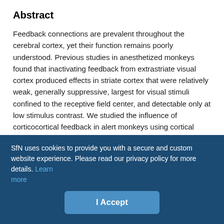Abstract
Feedback connections are prevalent throughout the cerebral cortex, yet their function remains poorly understood. Previous studies in anesthetized monkeys found that inactivating feedback from extrastriate visual cortex produced effects in striate cortex that were relatively weak, generally suppressive, largest for visual stimuli confined to the receptive field center, and detectable only at low stimulus contrast. We studied the influence of corticocortical feedback in alert monkeys using cortical cooling to reversibly inactivate visual areas 2 (V2) and 3 (V3) while characterizing receptive field properties in primary visual cortex (V1). We show that inactivation of feedback from areas V2 and V3 results in both
SfN uses cookies to provide you with a secure and custom website experience. Please read our privacy policy for more details. Learn more